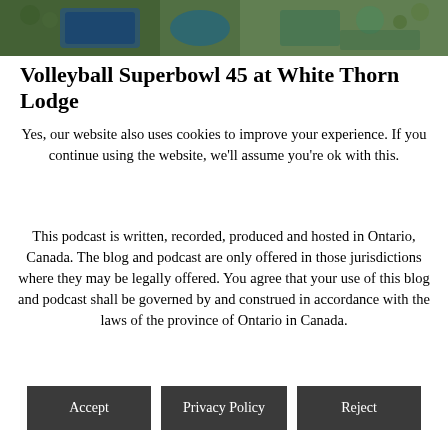[Figure (photo): Aerial photograph strip showing a resort or lodge with a swimming pool, greenery, and outdoor facilities.]
Volleyball Superbowl 45 at White Thorn Lodge
Yes, our website also uses cookies to improve your experience. If you continue using the website, we'll assume you're ok with this.
This podcast is written, recorded, produced and hosted in Ontario, Canada. The blog and podcast are only offered in those jurisdictions where they may be legally offered. You agree that your use of this blog and podcast shall be governed by and construed in accordance with the laws of the province of Ontario in Canada.
Accept | Privacy Policy | Reject